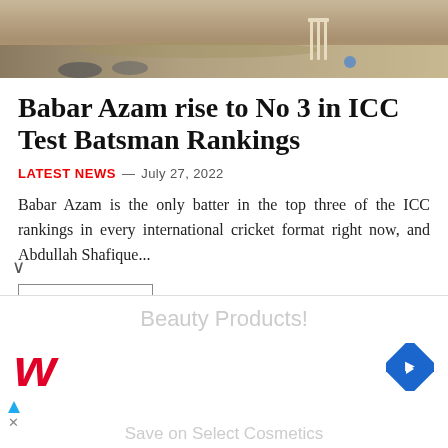[Figure (photo): Cricket match photo showing players' feet/legs on a field with cricket stumps visible]
Babar Azam rise to No 3 in ICC Test Batsman Rankings
LATEST NEWS — July 27, 2022
Babar Azam is the only batter in the top three of the ICC rankings in every international cricket format right now, and Abdullah Shafique...
READ MORE
Karateka Saadi Abbas looking for for gold in Islamic Solidarity Games
[Figure (other): Walgreens advertisement overlay with Beauty Products text and logo]